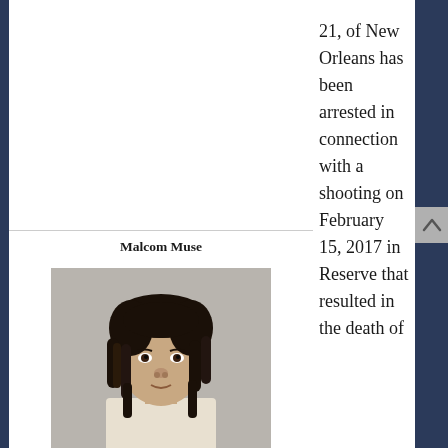21, of New Orleans has been arrested in connection with a shooting on February 15, 2017 in Reserve that resulted in the death of
Malcom Muse
[Figure (photo): Mugshot photo of a person with dreadlocks, facing forward against a gray background]